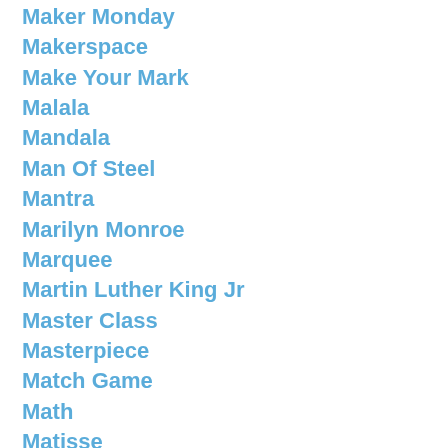Maker Monday
Makerspace
Make Your Mark
Malala
Mandala
Man Of Steel
Mantra
Marilyn Monroe
Marquee
Martin Luther King Jr
Master Class
Masterpiece
Match Game
Math
Matisse
Mayflower
MC Escher
Mcgrawhill
Mcgraw Hill
Media Arts
Meme